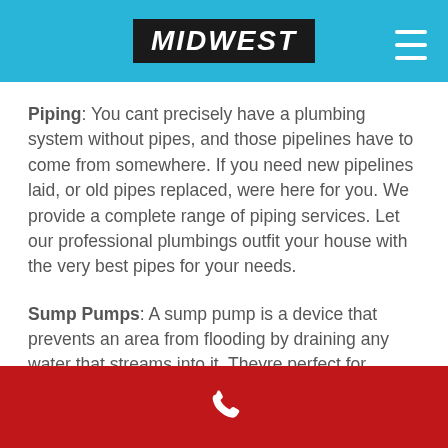MIDWEST
Piping: You cant precisely have a plumbing system without pipes, and those pipelines have to come from somewhere. If you need new pipelines laid, or old pipes replaced, were here for you. We provide a complete range of piping services. Let our professional plumbings outfit your house with the very best pipes for your needs.
Sump Pumps: A sump pump is a device that prevents an area from flooding by draining any water that streams into it. Theyre perfect for safeguarding specifically susceptible locations like basements and crawl areas. We install and service a wide array of sump pumps. Let us assist secure your house from flooding and water damage.
Phone contact